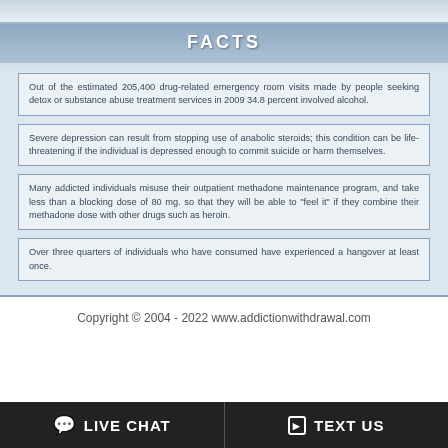FACTS
Out of the estimated 205,400 drug-related emergency room visits made by people seeking detox or substance abuse treatment services in 2009 34.8 percent involved alcohol.
Severe depression can result from stopping use of anabolic steroids; this condition can be life-threatening if the individual is depressed enough to commit suicide or harm themselves.
Many addicted individuals misuse their outpatient methadone maintenance program, and take less than a blocking dose of 80 mg. so that they will be able to "feel it" if they combine their methadone dose with other drugs such as heroin.
Over three quarters of individuals who have consumed have experienced a hangover at least once.
Copyright © 2004 - 2022 www.addictionwithdrawal.com
LIVE CHAT   TEXT US